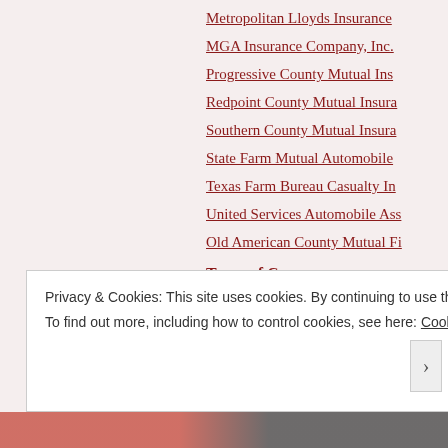Metropolitan Lloyds Insurance
MGA Insurance Company, Inc.
Progressive County Mutual Ins
Redpoint County Mutual Insura
Southern County Mutual Insura
State Farm Mutual Automobile
Texas Farm Bureau Casualty In
United Services Automobile Ass
Old American County Mutual Fi
Types of Car
ATV
Compact
Convertible
Coupe
Privacy & Cookies: This site uses cookies. By continuing to use this website, you agree to their use. To find out more, including how to control cookies, see here: Cookie Policy
Close and accept